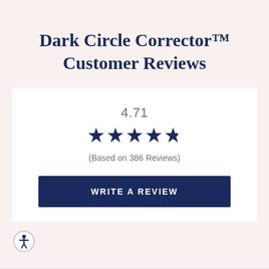Dark Circle Corrector™ Customer Reviews
4.71
[Figure (other): Five star rating display: 4 full stars and 1 partial star (approx 75% filled), dark navy color]
(Based on 386 Reviews)
WRITE A REVIEW
[Figure (logo): Circular accessibility badge icon, bottom left corner]